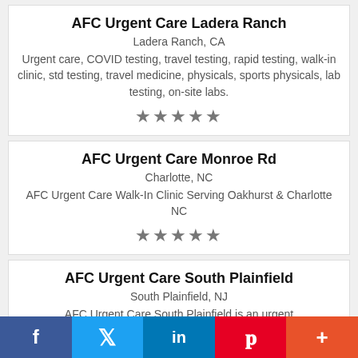AFC Urgent Care Ladera Ranch
Ladera Ranch, CA
Urgent care, COVID testing, travel testing, rapid testing, walk-in clinic, std testing, travel medicine, physicals, sports physicals, lab testing, on-site labs.
[Figure (other): Five star rating (★★★★★)]
AFC Urgent Care Monroe Rd
Charlotte, NC
AFC Urgent Care Walk-In Clinic Serving Oakhurst & Charlotte NC
[Figure (other): Five star rating (★★★★★)]
AFC Urgent Care South Plainfield
South Plainfield, NJ
AFC Urgent Care South Plainfield is an urgent
f  🐦  in  p  +